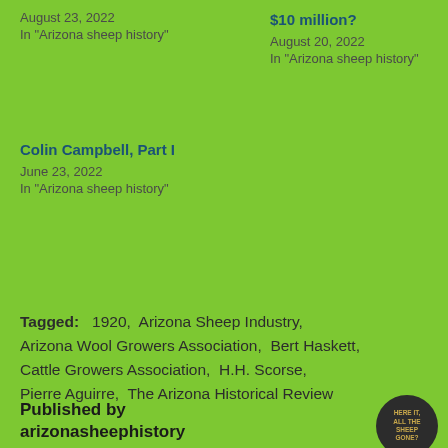August 23, 2022
In "Arizona sheep history"
$10 million?
August 20, 2022
In "Arizona sheep history"
Colin Campbell, Part I
June 23, 2022
In "Arizona sheep history"
Tagged:   1920,  Arizona Sheep Industry,  Arizona Wool Growers Association,  Bert Haskett,  Cattle Growers Association,  H.H. Scorse,  Pierre Aguirre,  The Arizona Historical Review
Published by arizonasheephistory